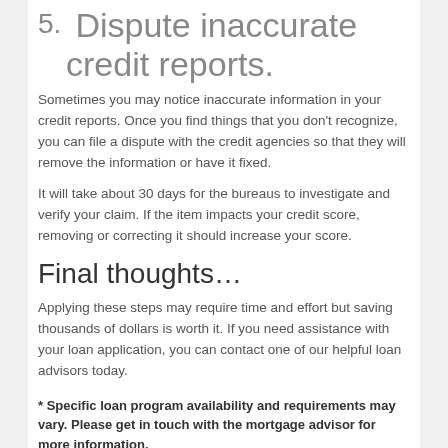5. Dispute inaccurate credit reports.
Sometimes you may notice inaccurate information in your credit reports. Once you find things that you don't recognize, you can file a dispute with the credit agencies so that they will remove the information or have it fixed.
It will take about 30 days for the bureaus to investigate and verify your claim. If the item impacts your credit score, removing or correcting it should increase your score.
Final thoughts…
Applying these steps may require time and effort but saving thousands of dollars is worth it. If you need assistance with your loan application, you can contact one of our helpful loan advisors today.
* Specific loan program availability and requirements may vary. Please get in touch with the mortgage advisor for more information.